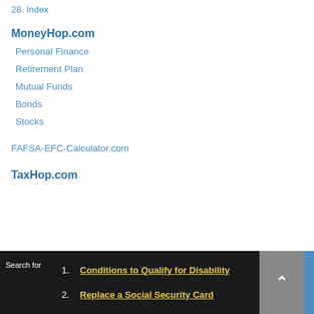28. Index
MoneyHop.com
Personal Finance
Retirement Plan
Mutual Funds
Bonds
Stocks
FAFSA-EFC-Calculator.com
TaxHop.com
Search for  1. Conditions to Qualify for Disability  2. Replace a Social Security Card